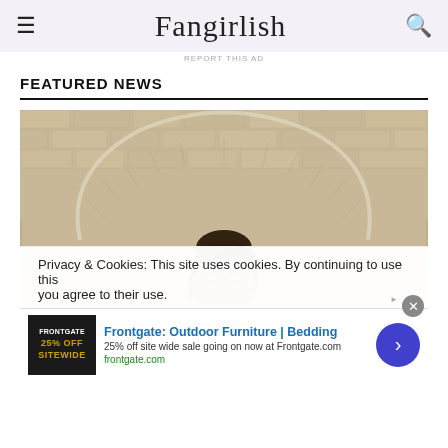Fangirlish
REPORT THIS AD
FEATURED NEWS
[Figure (photo): Woman with dark curly updo hair, wearing a beige/tan long-sleeve top, standing in front of a white brick arch background, looking down at a surface.]
Privacy & Cookies: This site uses cookies. By continuing to use this you agree to their use.
Frontgate: Outdoor Furniture | Bedding
25% off site wide sale going on now at Frontgate.com
frontgate.com